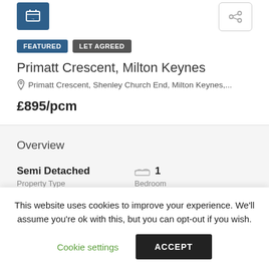[Figure (screenshot): Blue icon button on the left and share icon button on the right]
FEATURED   LET AGREED
Primatt Crescent, Milton Keynes
Primatt Crescent, Shenley Church End, Milton Keynes,...
£895/pcm
Overview
Semi Detached — Property Type
1 — Bedroom
This website uses cookies to improve your experience. We'll assume you're ok with this, but you can opt-out if you wish.
Cookie settings   ACCEPT